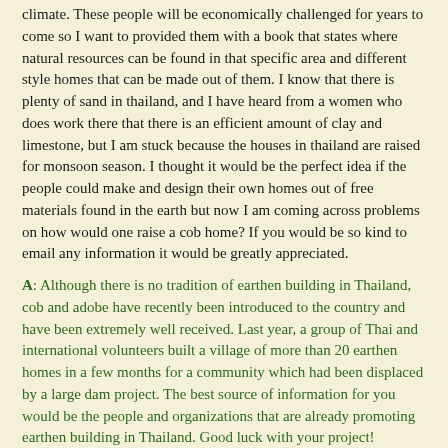climate. These people will be economically challenged for years to come so I want to provided them with a book that states where natural resources can be found in that specific area and different style homes that can be made out of them. I know that there is plenty of sand in thailand, and I have heard from a women who does work there that there is an efficient amount of clay and limestone, but I am stuck because the houses in thailand are raised for monsoon season. I thought it would be the perfect idea if the people could make and design their own homes out of free materials found in the earth but now I am coming across problems on how would one raise a cob home? If you would be so kind to email any information it would be greatly appreciated.
A: Although there is no tradition of earthen building in Thailand, cob and adobe have recently been introduced to the country and have been extremely well received. Last year, a group of Thai and international volunteers built a village of more than 20 earthen homes in a few months for a community which had been displaced by a large dam project. The best source of information for you would be the people and organizations that are already promoting earthen building in Thailand. Good luck with your project!
Q: I'm very interested in finding out more information on where (states) it is legal to build cob homes? And a contractor(s) that build them.
A: No state or jurisdiction in the United States yet has a code for cob, so far as I know. However, that does not mean that cob homes can not be permitted. Indeed, they already have been in several states, including California and Colorado. The Uniform Building Code, which has been adopted by most jurisdictions West of the Mississippi, expressly allows for